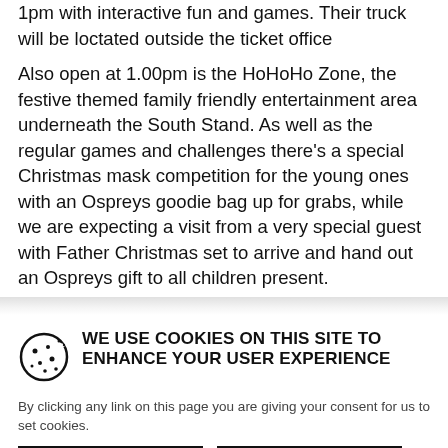1pm with interactive fun and games. Their truck will be loctated outside the ticket office
Also open at 1.00pm is the HoHoHo Zone, the festive themed family friendly entertainment area underneath the South Stand. As well as the regular games and challenges there's a special Christmas mask competition for the young ones with an Ospreys goodie bag up for grabs, while we are expecting a visit from a very special guest with Father Christmas set to arrive and hand out an Ospreys gift to all children present.
WE USE COOKIES ON THIS SITE TO ENHANCE YOUR USER EXPERIENCE
By clicking any link on this page you are giving your consent for us to set cookies.